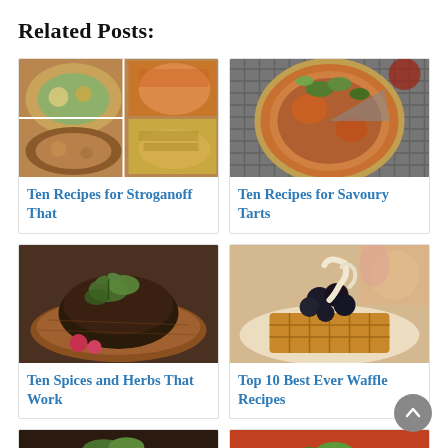Related Posts:
[Figure (photo): Collage of stroganoff dishes including pasta and sauces]
Ten Recipes for Stroganoff That
[Figure (photo): Savoury tart with greens on cooling rack]
Ten Recipes for Savoury Tarts
[Figure (photo): Spiced herb bread with radishes on wooden board]
Ten Spices and Herbs That Work
[Figure (photo): Waffle topped with chocolate and cream]
Top 10 Best Ever Waffle Recipes
[Figure (photo): Partial view of a dark glazed fish dish with greens]
[Figure (photo): Partial view of a tomato dish with leafy greens]